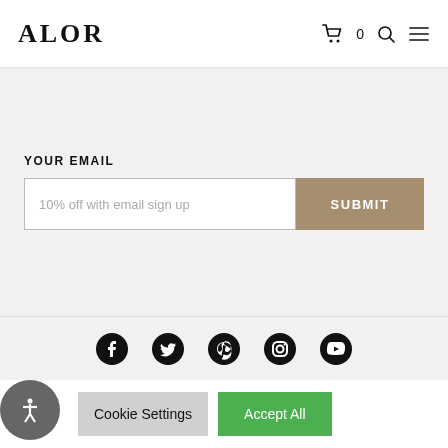ALOR
YOUR EMAIL
10% off with email sign up
SUBMIT
[Figure (illustration): Social media icons row: Facebook, Twitter, Pinterest, Instagram, YouTube]
We use cookies on our website to give you the most relevant experience by remembering your preferences and repeat visits. By clicking "Accept All", you consent to the use of ALL the cookies. However, you may visit "Cookie Settings" to provide a controlled consent.
Cookie Settings
Accept All